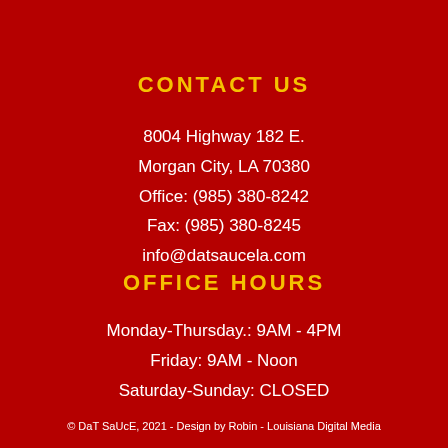CONTACT US
8004 Highway 182 E.
Morgan City, LA 70380
Office: (985) 380-8242
Fax: (985) 380-8245
info@datsaucela.com
OFFICE HOURS
Monday-Thursday.: 9AM - 4PM
Friday: 9AM - Noon
Saturday-Sunday: CLOSED
© DaT SaUcE, 2021 - Design by Robin - Louisiana Digital Media